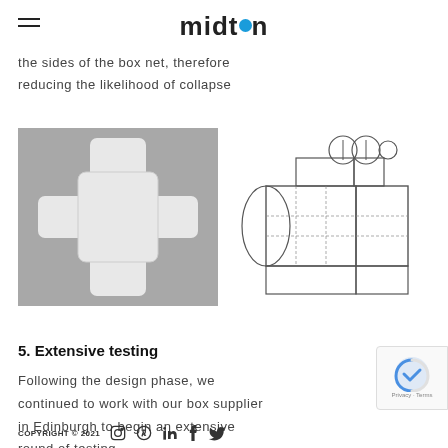midton
the sides of the box net, therefore reducing the likelihood of collapse
[Figure (photo): Photo of a white cross-shaped box net (unfolded box template) on a grey background]
[Figure (engineering-diagram): Technical line drawing / schematic of a box net showing fold lines, panels, and circular die-cut details at the top]
5. Extensive testing
Following the design phase, we continued to work with our box supplier in Edinburgh to begin an extensive round of testing.
COPYRIGHT © 2021